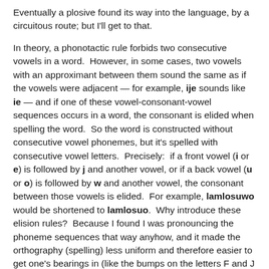Eventually a plosive found its way into the language, by a circuitous route; but I'll get to that.
In theory, a phonotactic rule forbids two consecutive vowels in a word.  However, in some cases, two vowels with an approximant between them sound the same as if the vowels were adjacent — for example, ije sounds like ie — and if one of these vowel-consonant-vowel sequences occurs in a word, the consonant is elided when spelling the word.  So the word is constructed without consecutive vowel phonemes, but it's spelled with consecutive vowel letters.  Precisely:  if a front vowel (i or e) is followed by j and another vowel, or if a back vowel (u or o) is followed by w and another vowel, the consonant between those vowels is elided.  For example, lamlosuwo would be shortened to lamlosuo.  Why introduce these elision rules?  Because I found I was pronouncing the phoneme sequences that way anyhow, and it made the orthography (spelling) less uniform and therefore easier to get one's bearings in (like the bumps on the letters F and J on a qwerty keyboard, that help touch typists feel when their fingers are in the right place).
Vectors